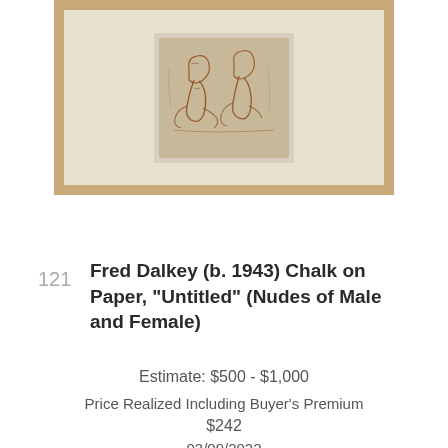[Figure (photo): Framed chalk drawing on paper depicting nudes of male and female figures, shown in a light wooden frame with off-white mat]
121
Fred Dalkey (b. 1943) Chalk on Paper, "Untitled" (Nudes of Male and Female)
Estimate: $500 - $1,000
Price Realized Including Buyer's Premium
$242
03/09/2022